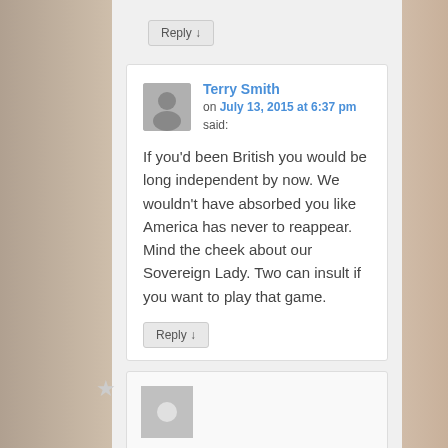Reply ↓
Terry Smith on July 13, 2015 at 6:37 pm said:
If you’d been British you would be long independent by now. We wouldn’t have absorbed you like America has never to reappear. Mind the cheek about our Sovereign Lady. Two can insult if you want to play that game.
Reply ↓